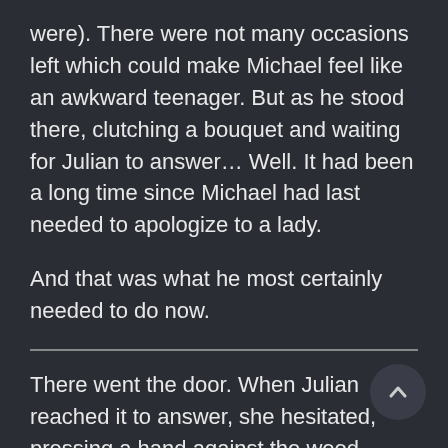were). There were not many occasions left which could make Michael feel like an awkward teenager. But as he stood there, clutching a bouquet and waiting for Julian to answer… Well. It had been a long time since Michael had last needed to apologize to a lady.
And that was what he most certainly needed to do now.
There went the door. When Julian reached it to answer, she hesitated, pressing a hand against the wood instead of opening it. She was still dressed in the same clothes from earlier, a low cut maroon blouse with no sleeves, and basic pair of